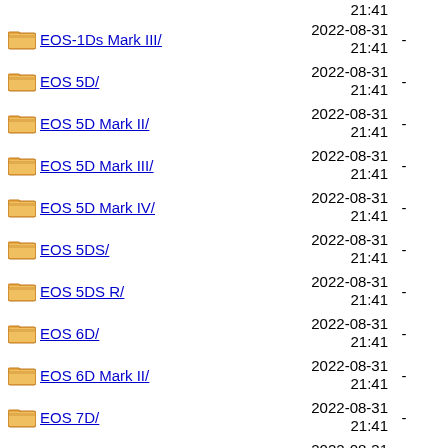21:41
EOS-1Ds Mark III/  2022-08-31 21:41  -
EOS 5D/  2022-08-31 21:41  -
EOS 5D Mark II/  2022-08-31 21:41  -
EOS 5D Mark III/  2022-08-31 21:41  -
EOS 5D Mark IV/  2022-08-31 21:41  -
EOS 5DS/  2022-08-31 21:41  -
EOS 5DS R/  2022-08-31 21:41  -
EOS 6D/  2022-08-31 21:41  -
EOS 6D Mark II/  2022-08-31 21:41  -
EOS 7D/  2022-08-31 21:41  -
EOS 7D Mark II/  2022-08-31 21:41  -